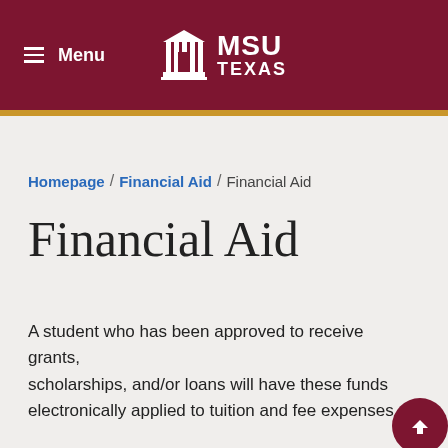Menu | MSU TEXAS
Homepage / Financial Aid / Financial Aid
Financial Aid
A student who has been approved to receive grants, scholarships, and/or loans will have these funds electronically applied to tuition and fee expenses